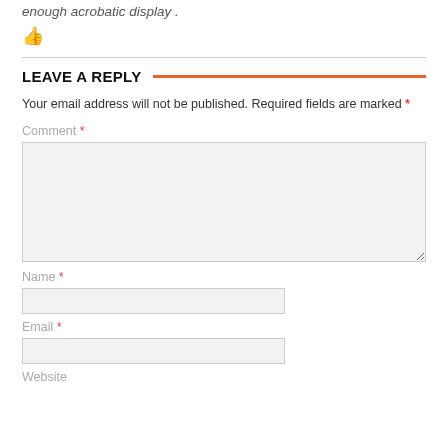enough acrobatic display .
[Figure (illustration): Thumbs up icon in orange/red color]
LEAVE A REPLY
Your email address will not be published. Required fields are marked *
Comment *
Name *
Email *
Website